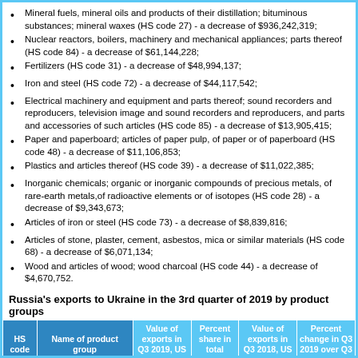Mineral fuels, mineral oils and products of their distillation; bituminous substances; mineral waxes (HS code 27) - a decrease of $936,242,319;
Nuclear reactors, boilers, machinery and mechanical appliances; parts thereof (HS code 84) - a decrease of $61,144,228;
Fertilizers (HS code 31) - a decrease of $48,994,137;
Iron and steel (HS code 72) - a decrease of $44,117,542;
Electrical machinery and equipment and parts thereof; sound recorders and reproducers, television image and sound recorders and reproducers, and parts and accessories of such articles (HS code 85) - a decrease of $13,905,415;
Paper and paperboard; articles of paper pulp, of paper or of paperboard (HS code 48) - a decrease of $11,106,853;
Plastics and articles thereof (HS code 39) - a decrease of $11,022,385;
Inorganic chemicals; organic or inorganic compounds of precious metals, of rare-earth metals,of radioactive elements or of isotopes (HS code 28) - a decrease of $9,343,673;
Articles of iron or steel (HS code 73) - a decrease of $8,839,816;
Articles of stone, plaster, cement, asbestos, mica or similar materials (HS code 68) - a decrease of $6,071,134;
Wood and articles of wood; wood charcoal (HS code 44) - a decrease of $4,670,752.
Russia's exports to Ukraine in the 3rd quarter of 2019 by product groups
| HS code | Name of product group | Value of exports in Q3 2019, US dollars ($) | Percent share in total export | Value of exports in Q3 2018, US dollars ($) | Percent change in Q3 2019 over Q3 2018 |
| --- | --- | --- | --- | --- | --- |